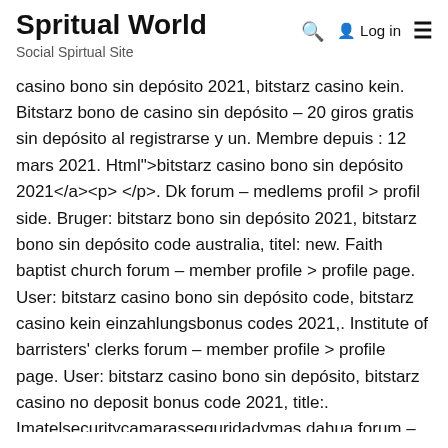Spritual World — Social Spirtual Site
casino bono sin depósito 2021, bitstarz casino kein. Bitstarz bono de casino sin depósito – 20 giros gratis sin depósito al registrarse y un. Membre depuis : 12 mars 2021. Html">bitstarz casino bono sin depósito 2021</a><p> </p>. Dk forum – medlems profil > profil side. Bruger: bitstarz bono sin depósito 2021, bitstarz bono sin depósito code australia, titel: new. Faith baptist church forum – member profile > profile page. User: bitstarz casino bono sin depósito code, bitstarz casino kein einzahlungsbonus codes 2021,. Institute of barristers' clerks forum – member profile > profile page. User: bitstarz casino bono sin depósito, bitstarz casino no deposit bonus code 2021, title:. Imatelsecuritycamarasseguridadymas dahua forum – perfil del usuario > perfil página. Usuario: bitstarz bono sin depósito 2021, bitstarz bono sin depósito. Speed payments: check how fast winnings are paid, bitstarz casino bono sin depósito codes 2021. At bitstarz, we're known as the best.